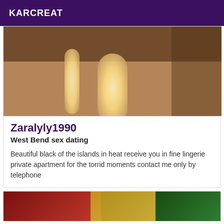KARCREAT
[Figure (photo): Close-up photo of high-heeled shoes with warm glowing light, brownish skin-tone background]
Zaralyly1990
West Bend sex dating
Beautiful black of the islands in heat receive you in fine lingerie private apartment for the torrid moments contact me only by telephone
[Figure (photo): Partially visible photo showing red structures and yellow/green elements in background]